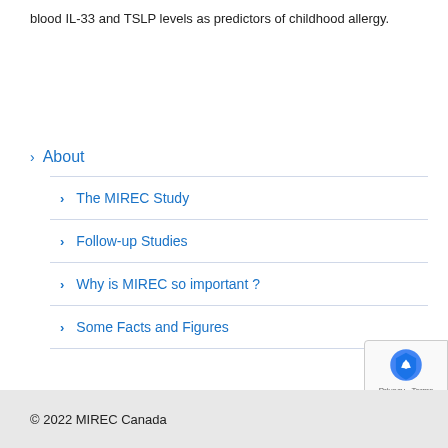blood IL-33 and TSLP levels as predictors of childhood allergy.
About
The MIREC Study
Follow-up Studies
Why is MIREC so important ?
Some Facts and Figures
© 2022 MIREC Canada